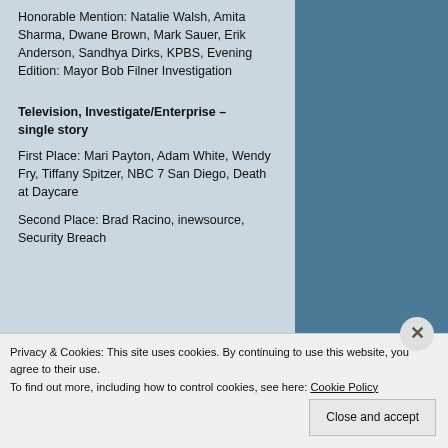Honorable Mention: Natalie Walsh, Amita Sharma, Dwane Brown, Mark Sauer, Erik Anderson, Sandhya Dirks, KPBS, Evening Edition: Mayor Bob Filner Investigation
Television, Investigate/Enterprise – single story
First Place: Mari Payton, Adam White, Wendy Fry, Tiffany Spitzer, NBC 7 San Diego, Death at Daycare
Second Place: Brad Racino, inewsource, Security Breach
Privacy & Cookies: This site uses cookies. By continuing to use this website, you agree to their use.
To find out more, including how to control cookies, see here: Cookie Policy